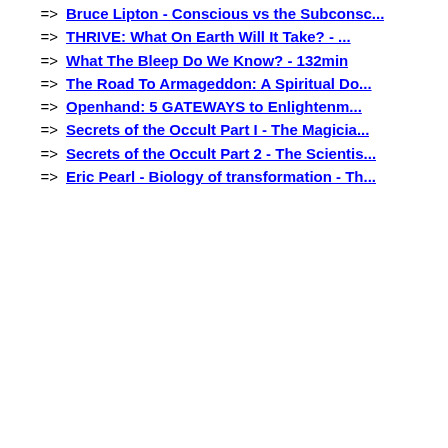=> Bruce Lipton - Conscious vs the Subconsc...
=> THRIVE: What On Earth Will It Take? - ...
=> What The Bleep Do We Know? - 132min
=> The Road To Armageddon: A Spiritual Do...
=> Openhand: 5 GATEWAYS to Enlightenm...
=> Secrets of the Occult Part I - The Magicia...
=> Secrets of the Occult Part 2 - The Scientis...
=> Eric Pearl - Biology of transformation - Th...